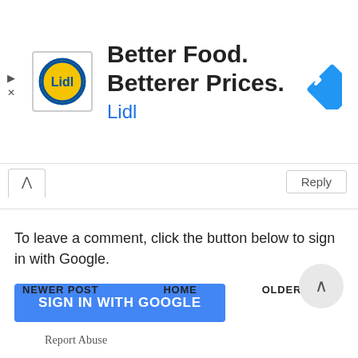[Figure (advertisement): Lidl ad banner with Lidl logo (yellow circle with blue Lidl text), headline 'Better Food. Betterer Prices.', subtext 'Lidl', and blue diamond navigation arrow icon on the right.]
To leave a comment, click the button below to sign in with Google.
[Figure (screenshot): Blue button labeled 'SIGN IN WITH GOOGLE']
NEWER POST
HOME
OLDER POST
Report Abuse